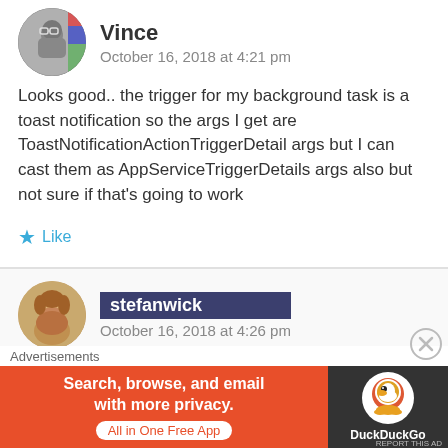Vince
October 16, 2018 at 4:21 pm
Looks good.. the trigger for my background task is a toast notification so the args I get are ToastNotificationActionTriggerDetail args but I can cast them as AppServiceTriggerDetails args also but not sure if that’s going to work
Like
stefanwick
October 16, 2018 at 4:26 pm
What I meant was: grab the
Advertisements
[Figure (infographic): DuckDuckGo advertisement banner: orange background with text 'Search, browse, and email with more privacy. All in One Free App' and DuckDuckGo logo on dark background]